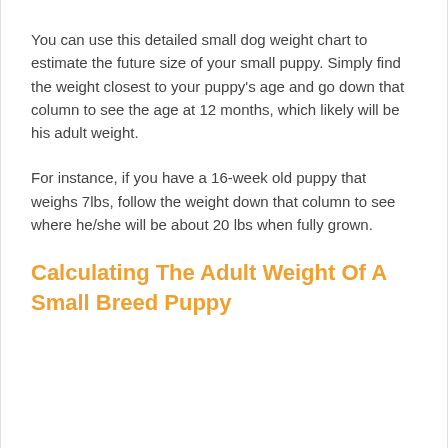You can use this detailed small dog weight chart to estimate the future size of your small puppy. Simply find the weight closest to your puppy's age and go down that column to see the age at 12 months, which likely will be his adult weight.
For instance, if you have a 16-week old puppy that weighs 7lbs, follow the weight down that column to see where he/she will be about 20 lbs when fully grown.
Calculating The Adult Weight Of A Small Breed Puppy